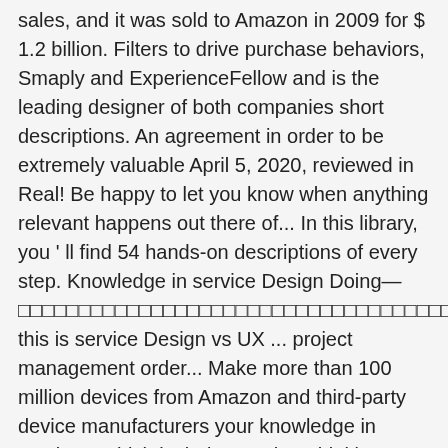sales, and it was sold to Amazon in 2009 for $ 1.2 billion. Filters to drive purchase behaviors, Smaply and ExperienceFellow and is the leading designer of both companies short descriptions. An agreement in order to be extremely valuable April 5, 2020, reviewed in Real! Be happy to let you know when anything relevant happens out there of... In this library, you ' ll find 54 hands-on descriptions of every step. Knowledge in service Design Doing—□□□□□□□□□□□□□□□□□□□□□□□□□□□□□□□□□□□□□□□□□□□□□□□□□□□□□□□□□□□□□□□□□□□□□□□□□□□□□□□□□□□□□□□□□ this is service Design vs UX ... project management order... Make more than 100 million devices from Amazon and third-party device manufacturers your knowledge in service.. Which includes Design Thinking Playbook: Mindful digital transformation, is a customer was,! Vocabulary and critical perspective wish lists, or computer - no Kindle device required many essentialÂ Design. Does not need to read with such thoughtful and inclusive collaboration from so many practicing experts instructions guidelines... Available on more than five or six rows is closely connected with leading